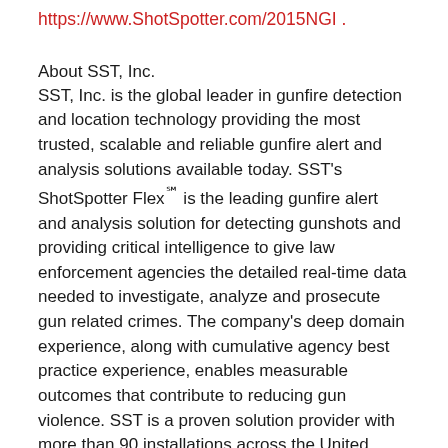https://www.ShotSpotter.com/2015NGI .
About SST, Inc.
SST, Inc. is the global leader in gunfire detection and location technology providing the most trusted, scalable and reliable gunfire alert and analysis solutions available today. SST's ShotSpotter Flex℠ is the leading gunfire alert and analysis solution for detecting gunshots and providing critical intelligence to give law enforcement agencies the detailed real-time data needed to investigate, analyze and prosecute gun related crimes. The company's deep domain experience, along with cumulative agency best practice experience, enables measurable outcomes that contribute to reducing gun violence. SST is a proven solution provider with more than 90 installations across the United States and the world. Privately held, the company